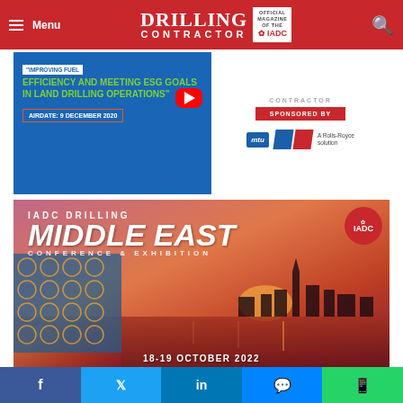Menu | DRILLING CONTRACTOR | OFFICIAL MAGAZINE OF THE IADC
[Figure (screenshot): Webinar banner: Improving Fuel Efficiency and Meeting ESG Goals in Land Drilling Operations, Airdate 9 December 2020, sponsored by MTU (A Rolls-Royce solution), with YouTube play button and Drilling Contractor logo]
[Figure (screenshot): IADC Drilling Middle East Conference & Exhibition promotional banner with Dubai skyline at sunset, date 18-19 October 2022, IADC red badge top right, decorative pattern lower left]
Facebook | Twitter | LinkedIn | Messenger | WhatsApp